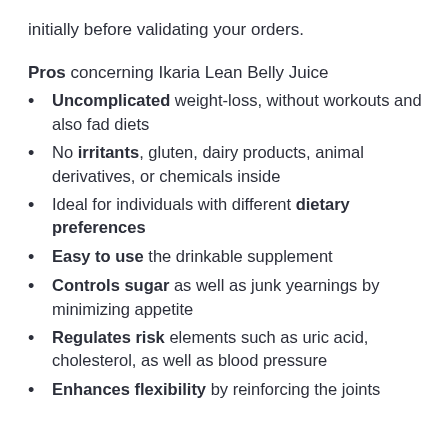initially before validating your orders.
Pros concerning Ikaria Lean Belly Juice
Uncomplicated weight-loss, without workouts and also fad diets
No irritants, gluten, dairy products, animal derivatives, or chemicals inside
Ideal for individuals with different dietary preferences
Easy to use the drinkable supplement
Controls sugar as well as junk yearnings by minimizing appetite
Regulates risk elements such as uric acid, cholesterol, as well as blood pressure
Enhances flexibility by reinforcing the joints